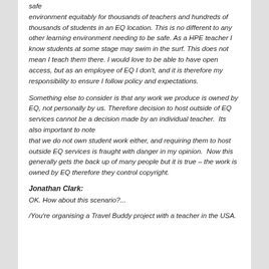safe environment equitably for thousands of teachers and hundreds of thousands of students in an EQ location.  This is no different to any other learning environment needing to be safe.  As a HPE teacher I know students at some stage may swim in the surf.  This does not mean I teach them there.  I would love to be able to have open access, but as an employee of EQ I don't, and it is therefore my responsibility to ensure I follow policy and expectations.
Something else to consider is that any work we produce is owned by EQ, not personally by us.  Therefore decision to host outside of EQ services cannot be a decision made by an individual teacher.  Its also important to note that we do not own student work either, and requiring them to host outside EQ services is fraught with danger in my opinion.  Now this generally gets the back up of many people but it is true – the work is owned by EQ therefore they control copyright.
Jonathan Clark:
OK. How about this scenario?...
/You're organising a Travel Buddy project with a teacher in the USA.